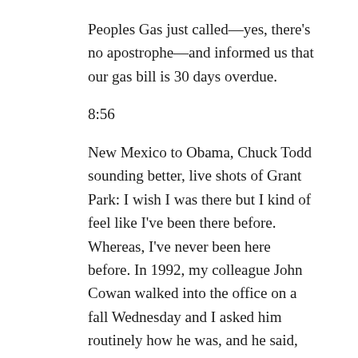Peoples Gas just called—yes, there's no apostrophe—and informed us that our gas bill is 30 days overdue.
8:56
New Mexico to Obama, Chuck Todd sounding better, live shots of Grant Park: I wish I was there but I kind of feel like I've been there before. Whereas, I've never been here before. In 1992, my colleague John Cowan walked into the office on a fall Wednesday and I asked him routinely how he was, and he said, "Great—for the first time in 12 years." I was 23, and felt sorry for him for feeling so personally connected to this bullshit political stuff.
9:05